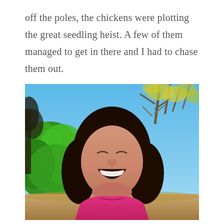off the poles, the chickens were plotting the great seedling heist. A few of them managed to get in there and I had to chase them out.
[Figure (photo): A young girl with dark hair laughing joyfully outdoors, head tilted back with mouth wide open, eyes closed. She is wearing a pink top. Background shows blue sky, bright green foliage, and bare trees with yellow-green leaves.]